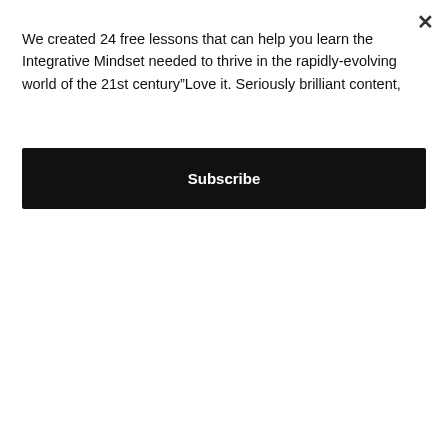We created 24 free lessons that can help you learn the Integrative Mindset needed to thrive in the rapidly-evolving world of the 21st century“Love it. Seriously brilliant content,
Subscribe
intelligent emergence that stretches all the way back to the Big Bang.
So organic intelligence is something like “looking through a glass onion” – each layer of the onion possesses it’s own degree of prehensive consciousness, each contributes to the totality we experience as “consciousness” and “intelligence”. You are not just one layer of the onion; you are the entire onion.